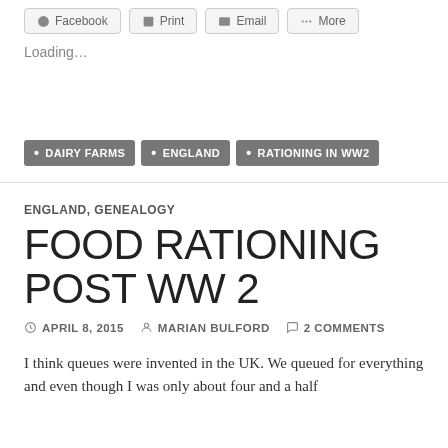[Figure (screenshot): Share buttons row: Facebook, Print, Email, More]
Loading…
• DAIRY FARMS  • ENGLAND  • RATIONING IN WW2
ENGLAND, GENEALOGY
FOOD RATIONING POST WW 2
APRIL 8, 2015  MARIAN BULFORD  2 COMMENTS
I think queues were invented in the UK. We queued for everything and even though I was only about four and a half